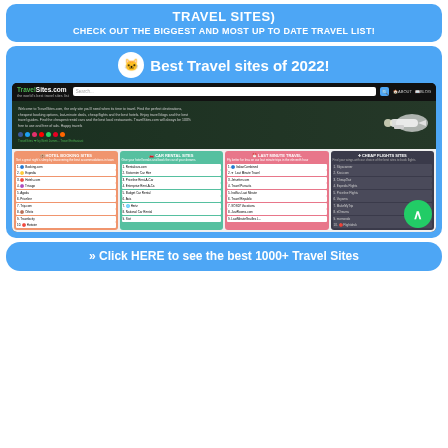TRAVEL SITES)
CHECK OUT THE BIGGEST AND MOST UP TO DATE TRAVEL LIST!
[Figure (screenshot): Screenshot of TravelSites.com website showing the homepage with search bar, hero section with airplane graphic, and four category columns: Hotel Booking Sites, Car Rental Sites, Last Minute Travel, and Cheap Flights Sites, each with numbered lists of travel websites.]
» Click HERE to see the best 1000+ Travel Sites